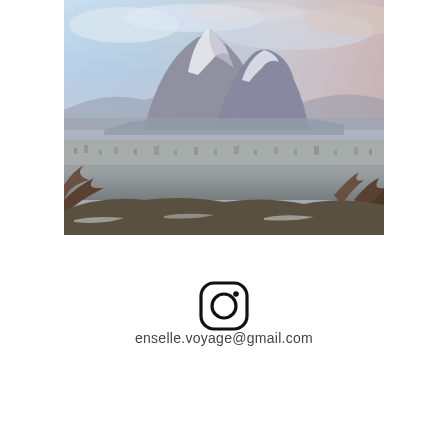[Figure (photo): Landscape photograph showing a snow-capped twin-peaked mountain (likely Mount Ararat) rising above a misty city covered in snow, with a hazy blue-pink sky. The mountain dominates the upper portion and the city spreads across the lower half.]
[Figure (logo): Instagram logo icon - a rounded square outline with a circle in the center and a small dot in the upper right, rendered in black.]
enselle.voyage@gmail.com